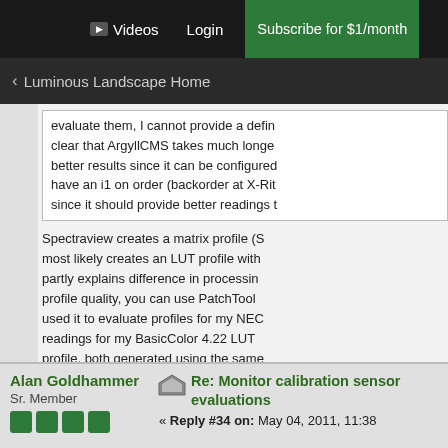▶ Videos   Login   Subscribe for $1/month
< Luminous Landscape Home
evaluate them, I cannot provide a defin... clear that ArgyllCMS takes much longe... better results since it can be configured... have an i1 on order (backorder at X-Rit... since it should provide better readings t...
Spectraview creates a matrix profile (S... most likely creates an LUT profile with... partly explains difference in processin... profile quality, you can use PatchTool... used it to evaluate profiles for my NEC... readings for my BasicColor 4.22 LUT... profile, both generated using the sam... 2) and the same basic parameters for...
Mark D Segal (formerly MarkDS)
Author: "Scanning Workflows with Silv...
Alan Goldhammer
Sr. Member
Re: Monitor calibration sensor evaluations
« Reply #34 on: May 04, 2011, 11:38...